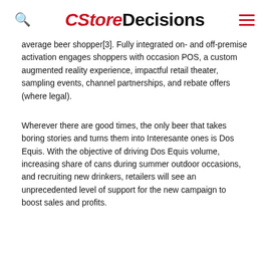CStoreDecisions
average beer shopper[3]. Fully integrated on- and off-premise activation engages shoppers with occasion POS, a custom augmented reality experience, impactful retail theater, sampling events, channel partnerships, and rebate offers (where legal).
Wherever there are good times, the only beer that takes boring stories and turns them into Interesante ones is Dos Equis. With the objective of driving Dos Equis volume, increasing share of cans during summer outdoor occasions, and recruiting new drinkers, retailers will see an unprecedented level of support for the new campaign to boost sales and profits.